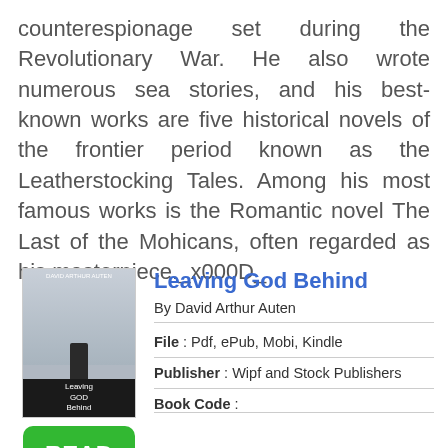counterespionage set during the Revolutionary War. He also wrote numerous sea stories, and his best-known works are five historical novels of the frontier period known as the Leatherstocking Tales. Among his most famous works is the Romantic novel The Last of the Mohicans, often regarded as his masterpiece._x000D_
[Figure (illustration): Book cover of 'Leaving God Behind' by David Arthur Auten, showing a figure on a rocky outcrop against a grey sky, with dark bottom band and title text.]
Leaving God Behind
By David Arthur Auten
File : Pdf, ePub, Mobi, Kindle
Publisher : Wipf and Stock Publishers
Book Code :